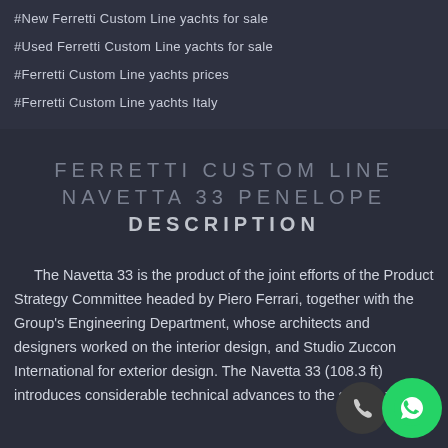#New Ferretti Custom Line yachts for sale
#Used Ferretti Custom Line yachts for sale
#Ferretti Custom Line yachts prices
#Ferretti Custom Line yachts Italy
FERRETTI CUSTOM LINE NAVETTA 33 PENELOPE DESCRIPTION
The Navetta 33 is the product of the joint efforts of the Product Strategy Committee headed by Piero Ferrari, together with the Group's Engineering Department, whose architects and designers worked on the interior design, and Studio Zuccon International for exterior design. The Navetta 33 (108.3 ft) introduces considerable technical advances to the series, which